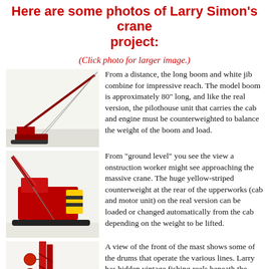Here are some photos of Larry Simon's crane project:
(Click photo for larger image.)
[Figure (photo): Photo of a crane model from a distance showing long boom and white jib]
From a distance, the long boom and white jib combine for impressive reach. The model boom is approximately 80" long, and like the real version, the pilothouse unit that carries the cab and engine must be counterweighted to balance the weight of the boom and load.
[Figure (photo): Photo of crane model from ground level showing yellow-striped counterweight at rear of upperworks]
From "ground level" you see the view a onstruction worker might see approaching the massive crane. The huge yellow-striped counterweight at the rear of the upperworks (cab and motor unit) on the real version can be loaded or changed automatically from the cab depending on the weight to be lifted.
[Figure (photo): Photo of the front of the mast showing drums that operate the various lines]
A view of the front of the mast shows some of the drums that operate the various lines. Larry has hidden vintage fishing reels beneath the display base to do the actual lifting of the boom, and hooks